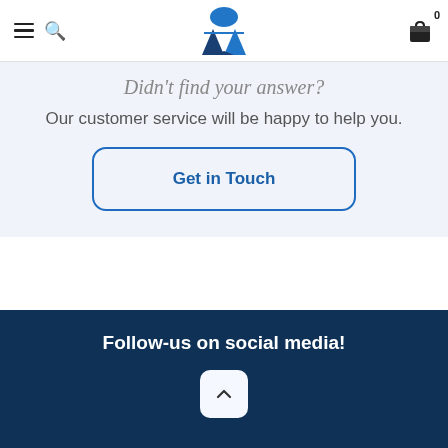Navigation header with hamburger menu, search icon, logo, and cart icon (0 items)
Didn't find your answer?
Our customer service will be happy to help you.
Get in Touch
This section doesn't currently include any content. Add content to this section using the sidebar.
Follow-us on social media!